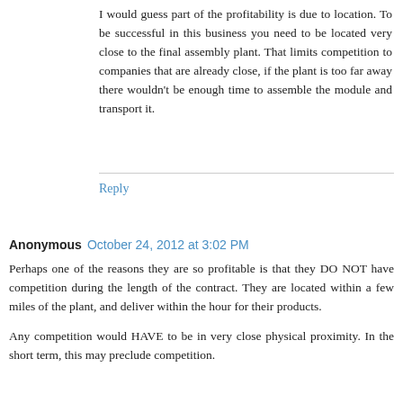I would guess part of the profitability is due to location. To be successful in this business you need to be located very close to the final assembly plant. That limits competition to companies that are already close, if the plant is too far away there wouldn't be enough time to assemble the module and transport it.
Reply
Anonymous  October 24, 2012 at 3:02 PM
Perhaps one of the reasons they are so profitable is that they DO NOT have competition during the length of the contract. They are located within a few miles of the plant, and deliver within the hour for their products.
Any competition would HAVE to be in very close physical proximity. In the short term, this may preclude competition.